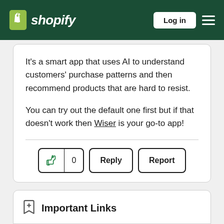shopify — Log in
It's a smart app that uses AI to understand customers' purchase patterns and then recommend products that are hard to resist.

You can try out the default one first but if that doesn't work then Wiser is your go-to app!
Important Links